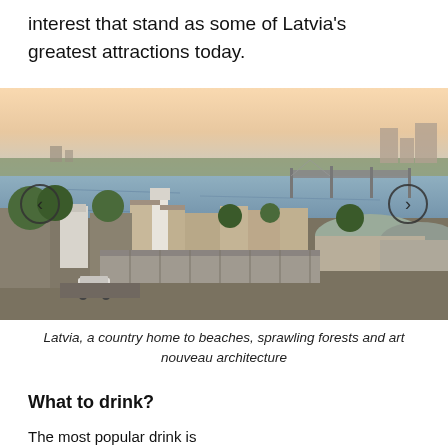interest that stand as some of Latvia's greatest attractions today.
[Figure (photo): Aerial panoramic view of Riga, Latvia, showing the Daugava River, a bridge, historic brick buildings, market pavilions with arched roofs, trees, and a warm sunset sky.]
Latvia, a country home to beaches, sprawling forests and art nouveau architecture
What to drink?
The most popular drink is...